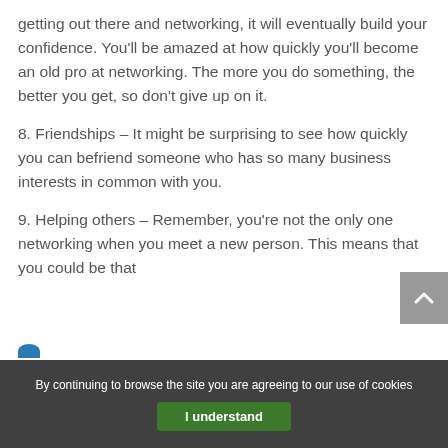getting out there and networking, it will eventually build your confidence. You'll be amazed at how quickly you'll become an old pro at networking. The more you do something, the better you get, so don't give up on it.
8. Friendships – It might be surprising to see how quickly you can befriend someone who has so many business interests in common with you.
9. Helping others – Remember, you're not the only one networking when you meet a new person. This means that you could be that
By continuing to browse the site you are agreeing to our use of cookies